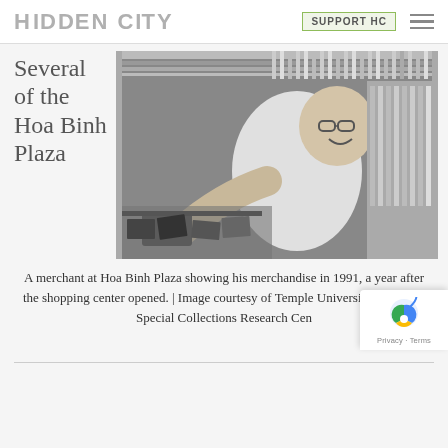HIDDEN CITY | SUPPORT HC
Several of the Hoa Binh Plaza
[Figure (photo): Black and white photograph of a merchant at Hoa Binh Plaza leaning over a display case and reaching toward camera, showing merchandise such as CDs or VHS tapes, shelving with products in the background, taken in 1991.]
A merchant at Hoa Binh Plaza showing his merchandise in 1991, a year after the shopping center opened. | Image courtesy of Temple University Libraries, Special Collections Research Cen